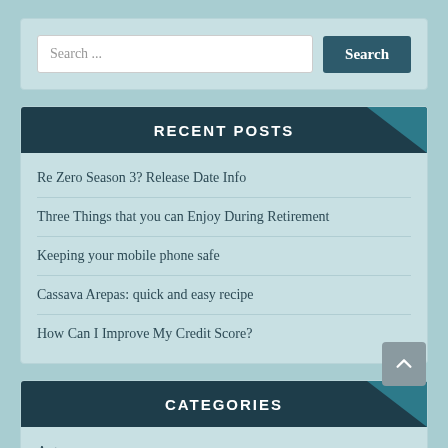Search ...
RECENT POSTS
Re Zero Season 3? Release Date Info
Three Things that you can Enjoy During Retirement
Keeping your mobile phone safe
Cassava Arepas: quick and easy recipe
How Can I Improve My Credit Score?
CATEGORIES
Auto
Beauty Tips